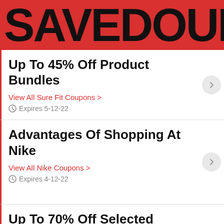SAVEDOUB
Up To 45% Off Product Bundles
View All Sure Fit Coupons >
Expires 5-12-22
Advantages Of Shopping At Nike
View All Nike Coupons >
Expires 4-12-22
Up To 70% Off Selected Products
View All Nintendo Direct Coupons >